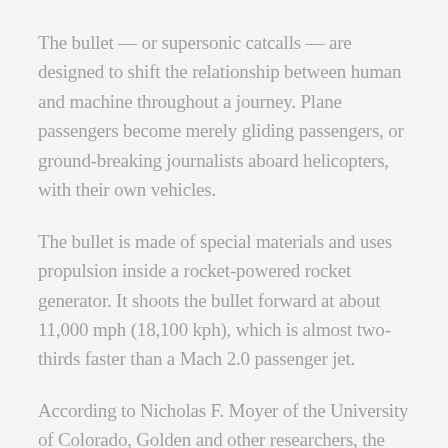The bullet — or supersonic catcalls — are designed to shift the relationship between human and machine throughout a journey. Plane passengers become merely gliding passengers, or ground-breaking journalists aboard helicopters, with their own vehicles.
The bullet is made of special materials and uses propulsion inside a rocket-powered rocket generator. It shoots the bullet forward at about 11,000 mph (18,100 kph), which is almost two-thirds faster than a Mach 2.0 passenger jet.
According to Nicholas F. Moyer of the University of Colorado, Golden and other researchers, the bullet is less likely to show signs of fatigue or bumpiness during its route, and could therefore create an even more